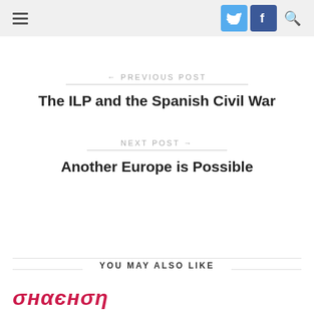← PREVIOUS POST
← PREVIOUS POST
The ILP and the Spanish Civil War
NEXT POST →
Another Europe is Possible
YOU MAY ALSO LIKE
[Figure (logo): Partial red italic logo text at bottom left, cropped]